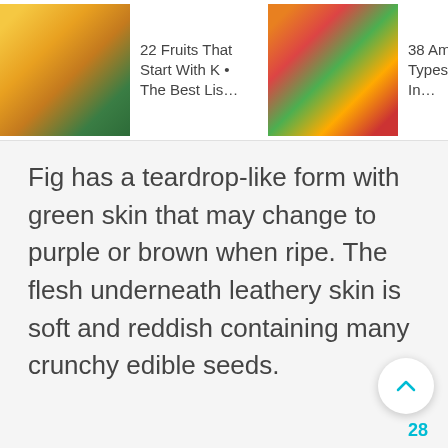[Figure (screenshot): Horizontal scrolling banner with fruit article thumbnails. Card 1: kumquat image with text '22 Fruits That Start With K • The Best Lis…'. Card 2: tropical fruits image with text '38 Amazing Types Of Fruits In…'. Card 3: grapefruit/citrus image with text '14 Different Types Of Grapefruit'.]
Fig has a teardrop-like form with green skin that may change to purple or brown when ripe. The flesh underneath leathery skin is soft and reddish containing many crunchy edible seeds.
[Figure (infographic): UI overlay buttons: upvote chevron button (white circle), count '28' in teal, heart/like button (white circle), and search button (teal filled circle with magnifying glass icon).]